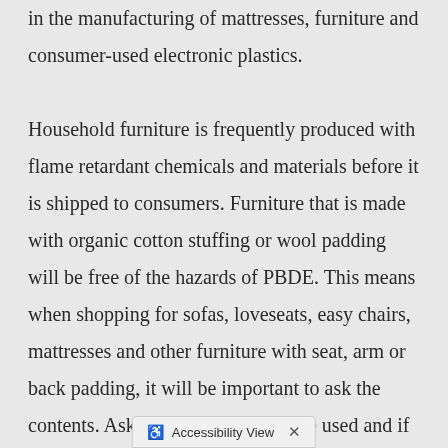in the manufacturing of mattresses, furniture and consumer-used electronic plastics.

Household furniture is frequently produced with flame retardant chemicals and materials before it is shipped to consumers. Furniture that is made with organic cotton stuffing or wool padding will be free of the hazards of PBDE. This means when shopping for sofas, loveseats, easy chairs, mattresses and other furniture with seat, arm or back padding, it will be important to ask the contents. Ask if flame retardants are used and if there are alternate choices. Request that organic cotton or wool padding be provided as a condition of your purchase. The use of flame retardant materials varies from state to state. Its use will depend on governmental laws and regulations that are in affect.